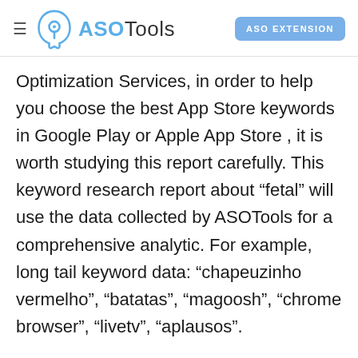ASOTools — ASO EXTENSION
Optimization Services, in order to help you choose the best App Store keywords in Google Play or Apple App Store , it is worth studying this report carefully. This keyword research report about “fetal” will use the data collected by ASOTools for a comprehensive analytic. For example, long tail keyword data: “chapeuzinho vermelho”, “batatas”, “magoosh”, “chrome browser”, “livetv”, “aplausos”.